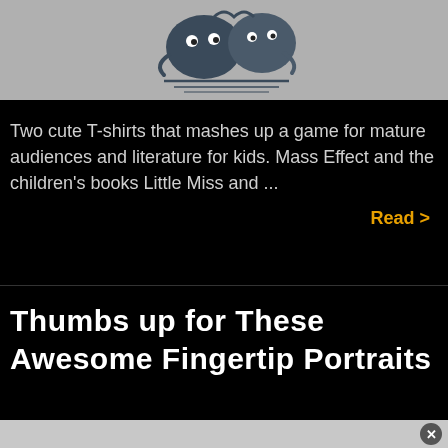[Figure (illustration): Graffiti-style cartoon illustration on gray background showing rounded characters/letters in dark blue/gray tones with motion lines beneath]
Two cute T-shirts that mashes up a game for mature audiences and literature for kids. Mass Effect and the children's books Little Miss and ...
Read >
Thumbs up for These Awesome Fingertip Portraits
x